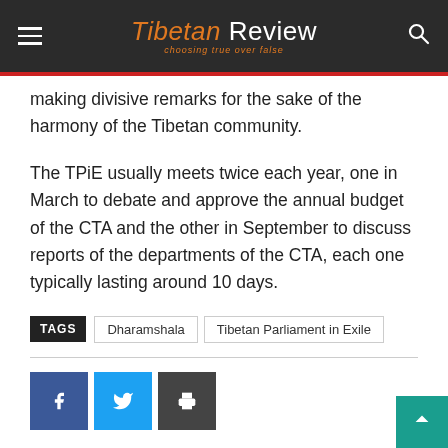Tibetan Review — choosing true over false
making divisive remarks for the sake of the harmony of the Tibetan community.
The TPiE usually meets twice each year, one in March to debate and approve the annual budget of the CTA and the other in September to discuss reports of the departments of the CTA, each one typically lasting around 10 days.
TAGS: Dharamshala, Tibetan Parliament in Exile